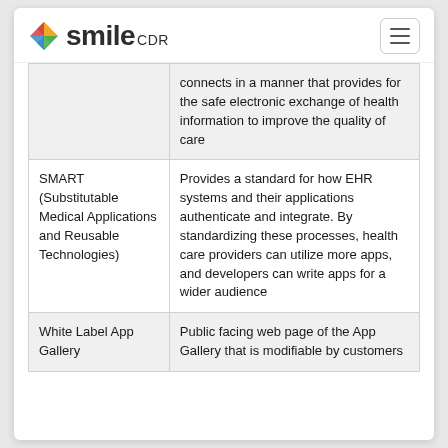[Figure (logo): Smile CDR logo with colorful diamond icon and text 'smile CDR']
|  | connects in a manner that provides for the safe electronic exchange of health information to improve the quality of care |
| SMART (Substitutable Medical Applications and Reusable Technologies) | Provides a standard for how EHR systems and their applications authenticate and integrate. By standardizing these processes, health care providers can utilize more apps, and developers can write apps for a wider audience |
| White Label App Gallery | Public facing web page of the App Gallery that is modifiable by customers |